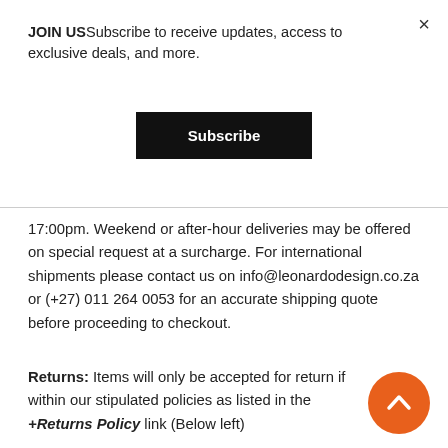JOIN USSubscribe to receive updates, access to exclusive deals, and more.
Subscribe
17:00pm. Weekend or after-hour deliveries may be offered on special request at a surcharge. For international shipments please contact us on info@leonardodesign.co.za or (+27) 011 264 0053 for an accurate shipping quote before proceeding to checkout.
Returns: Items will only be accepted for return if within our stipulated policies as listed in the +Returns Policy link (Below left)